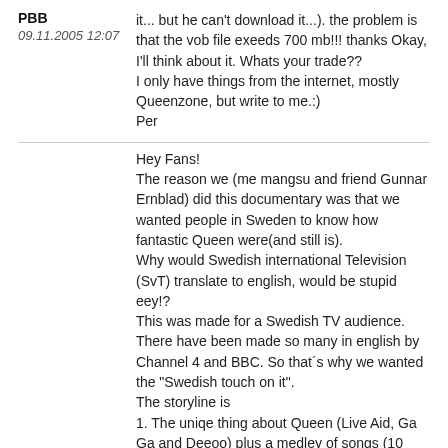PBB
09.11.2005 12:07
it... but he can't download it...). the problem is that the vob file exeeds 700 mb!!! thanks Okay, I'll think about it. Whats your trade??
I only have things from the internet, mostly Queenzone, but write to me.:)
Per
Hey Fans!
The reason we (me mangsu and friend Gunnar Ernblad) did this documentary was that we wanted people in Sweden to know how fantastic Queen were(and still is).
Why would Swedish international Television (SvT) translate to english, would be stupid eey!?
This was made for a Swedish TV audience.
There have been made so many in english by Channel 4 and BBC. So that´s why we wanted the "Swedish touch on it".
The storyline is
1. The uniqe thing about Queen (Live Aid, Ga Ga and Deeoo) plus a medley of songs (10 minutes).
2. - Qritics (they didn´t understood Queen in